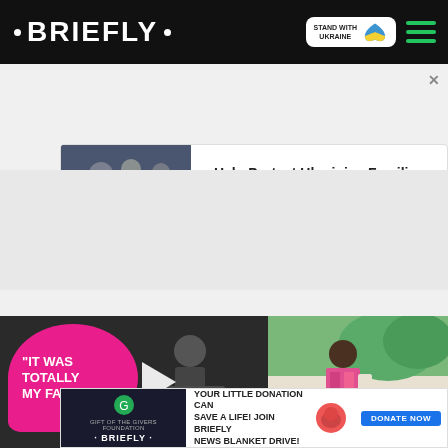• BRIEFLY •
[Figure (screenshot): Briefly news website header with logo, Stand with Ukraine badge, and hamburger menu]
[Figure (infographic): Ukraine donation banner: image of people on left, text 'Help Protect Ukrainian Families' with DONATE NOW button and Ukrainian heart flag icon]
[Figure (infographic): Video thumbnail with pink speech bubble reading 'IT WAS TOTALLY MY FAULT' with play button, showing man in wheelchair. Adjacent photo of woman outdoors.]
[Figure (infographic): Bottom donation strip: Gift of the Givers / Briefly logo on left, text 'YOUR LITTLE DONATION CAN SAVE A LIFE! JOIN BRIEFLY NEWS BLANKET DRIVE!' with DONATE NOW button]